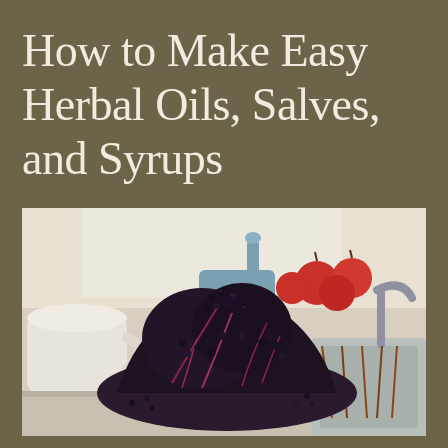How to Make Easy Herbal Oils, Salves, and Syrups
[Figure (photo): A kitchen counter with a large pile of dark elderberries on stems in the foreground, white ceramic mugs and a blue mortar and pestle in the background left, red apples in a bowl in the background center, and a stainless steel sink with berry stems visible on the right.]